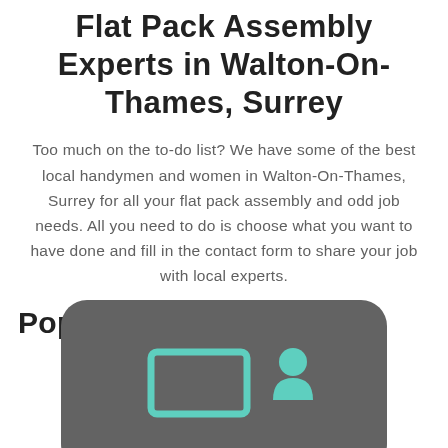Flat Pack Assembly Experts in Walton-On-Thames, Surrey
Too much on the to-do list? We have some of the best local handymen and women in Walton-On-Thames, Surrey for all your flat pack assembly and odd job needs. All you need to do is choose what you want to have done and fill in the contact form to share your job with local experts.
Popular Services
[Figure (illustration): A rounded rectangle card with dark grey background showing icons of a monitor/screen outline in teal and a person silhouette in teal, representing flat pack assembly services.]